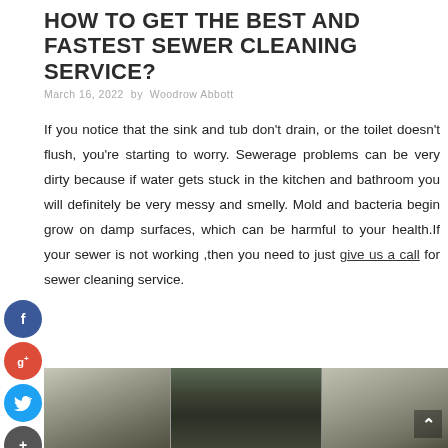HOW TO GET THE BEST AND FASTEST SEWER CLEANING SERVICE?
March 16, 2022 by Woodrow Abbott
If you notice that the sink and tub don't drain, or the toilet doesn't flush, you're starting to worry. Sewerage problems can be very dirty because if water gets stuck in the kitchen and bathroom you will definitely be very messy and smelly. Mold and bacteria begin grow on damp surfaces, which can be harmful to your health.If your sewer is not working ,then you need to just give us a call for sewer cleaning service.
[Figure (photo): Photo of sewer or pipe cleaning in progress, showing industrial piping and building exterior in three panels]